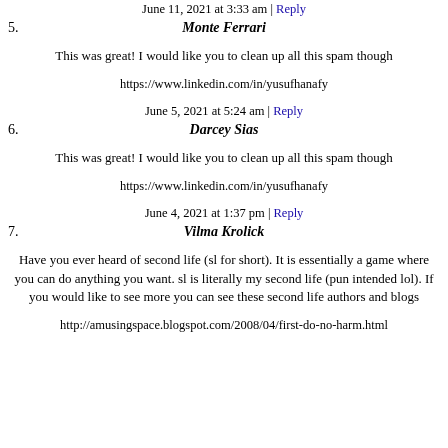June 11, 2021 at 3:33 am | Reply
5. Monte Ferrari
This was great! I would like you to clean up all this spam though
https://www.linkedin.com/in/yusufhanafy
June 5, 2021 at 5:24 am | Reply
6. Darcey Sias
This was great! I would like you to clean up all this spam though
https://www.linkedin.com/in/yusufhanafy
June 4, 2021 at 1:37 pm | Reply
7. Vilma Krolick
Have you ever heard of second life (sl for short). It is essentially a game where you can do anything you want. sl is literally my second life (pun intended lol). If you would like to see more you can see these second life authors and blogs
http://amusingspace.blogspot.com/2008/04/first-do-no-harm.html